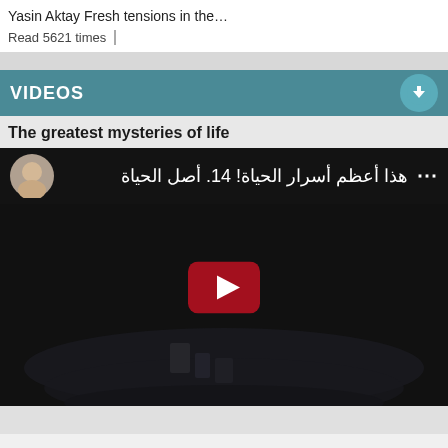Yasin Aktay Fresh tensions in the…
Read 5621 times
VIDEOS
The greatest mysteries of life
[Figure (screenshot): YouTube video thumbnail showing Arabic title 'هذا أعظم أسرار الحياة! 14. أصل الحياة' with a speaker avatar, play button, and dark background with water ripple effect]